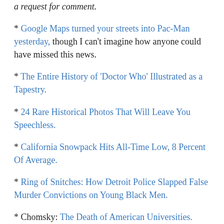a request for comment.
* Google Maps turned your streets into Pac-Man yesterday, though I can't imagine how anyone could have missed this news.
* The Entire History of 'Doctor Who' Illustrated as a Tapestry.
* 24 Rare Historical Photos That Will Leave You Speechless.
* California Snowpack Hits All-Time Low, 8 Percent Of Average.
* Ring of Snitches: How Detroit Police Slapped False Murder Convictions on Young Black Men.
* Chomsky: The Death of American Universities.